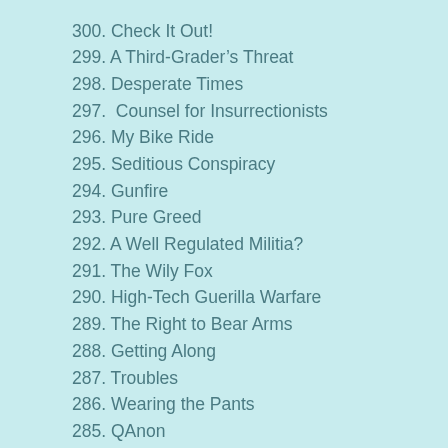300. Check It Out!
299. A Third-Grader's Threat
298. Desperate Times
297.  Counsel for Insurrectionists
296. My Bike Ride
295. Seditious Conspiracy
294. Gunfire
293. Pure Greed
292. A Well Regulated Militia?
291. The Wily Fox
290. High-Tech Guerilla Warfare
289. The Right to Bear Arms
288. Getting Along
287. Troubles
286. Wearing the Pants
285. QAnon